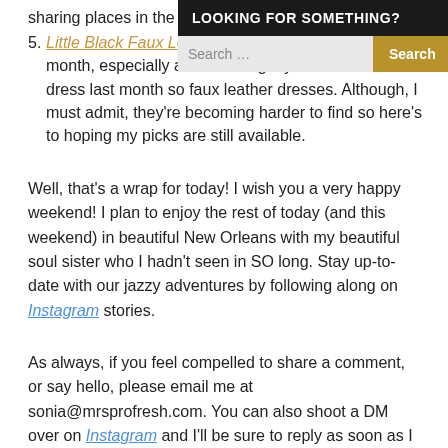sharing places in the area 😉
5. Little Black Faux Leather Dress — resurfacing each month, especially after wearing my black faux leather dress last month so faux leather dresses. Although, I must admit, they're becoming harder to find so here's to hoping my picks are still available.
Well, that's a wrap for today! I wish you a very happy weekend! I plan to enjoy the rest of today (and this weekend) in beautiful New Orleans with my beautiful soul sister who I hadn't seen in SO long. Stay up-to-date with our jazzy adventures by following along on Instagram stories.
As always, if you feel compelled to share a comment, or say hello, please email me at sonia@mrsprofresh.com. You can also shoot a DM over on Instagram and I'll be sure to reply as soon as I am able to 😉 Thanks so much for reading!